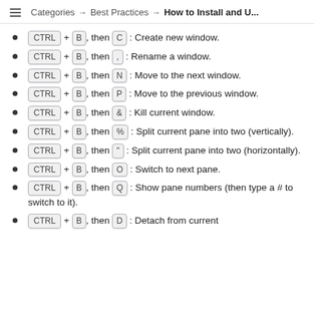Categories → Best Practices → How to Install and U...
CTRL + B, then C : Create new window.
CTRL + B, then , : Rename a window.
CTRL + B, then N : Move to the next window.
CTRL + B, then P : Move to the previous window.
CTRL + B, then & : Kill current window.
CTRL + B, then % : Split current pane into two (vertically).
CTRL + B, then " : Split current pane into two (horizontally).
CTRL + B, then O : Switch to next pane.
CTRL + B, then Q : Show pane numbers (then type a # to switch to it).
CTRL + B, then D : Detach from current